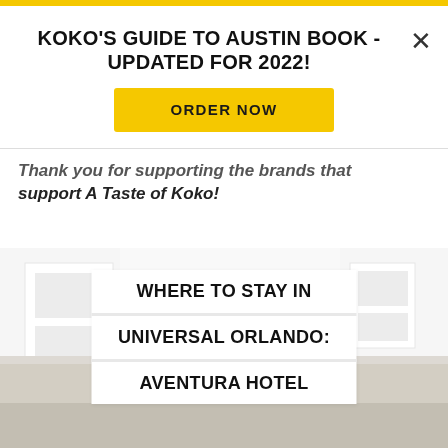KOKO'S GUIDE TO AUSTIN BOOK - UPDATED FOR 2022!
ORDER NOW
Thank you for supporting the brands that support A Taste of Koko!
[Figure (photo): Exterior or interior photo of a modern hotel building with white architectural elements, used as background image for the article title overlay.]
WHERE TO STAY IN UNIVERSAL ORLANDO: AVENTURA HOTEL